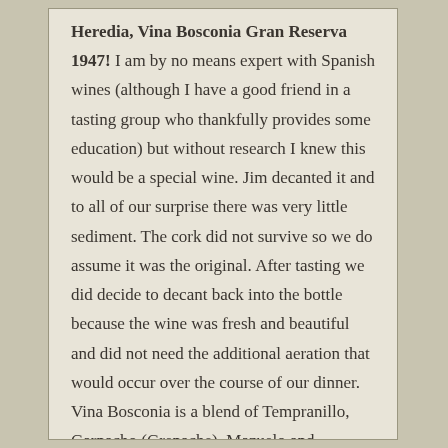Heredia, Vina Bosconia Gran Reserva 1947! I am by no means expert with Spanish wines (although I have a good friend in a tasting group who thankfully provides some education) but without research I knew this would be a special wine. Jim decanted it and to all of our surprise there was very little sediment. The cork did not survive so we do assume it was the original. After tasting we did decide to decant back into the bottle because the wine was fresh and beautiful and did not need the additional aeration that would occur over the course of our dinner. Vina Bosconia is a blend of Tempranillo, Garnacho (Grenache), Mazuelo and Graciano from the El Bosque vineyard. A Gran Reserva ages for 8-10 years in barrel before it is bottled and then another 10 years before it is released. I'm afraid I focused on the moment and not on